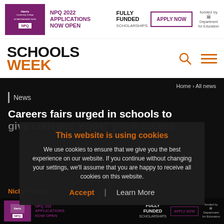[Figure (screenshot): Harris Leadership College NPQ 2022 Applications Now Open - Fully Funded Scholarships - Apply Now - Funded by Department for Education banner advertisement]
[Figure (logo): Schools Week logo with SCHOOLS in black bold and WEEK in orange bold]
Home › All news
News
Careers fairs urged in schools to give colleges 'equal' pupil access
This website is using cookies
We use cookies to ensure that we give you the best experience on our website. If you continue without changing your settings, we'll assume that you are happy to receive all cookies on this website.
Accept  Learn More
Nicky Phillips